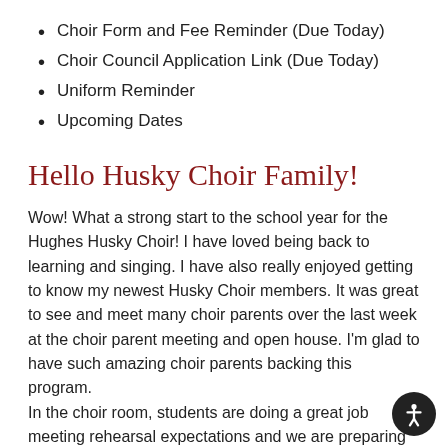Choir Form and Fee Reminder (Due Today)
Choir Council Application Link (Due Today)
Uniform Reminder
Upcoming Dates
Hello Husky Choir Family!
Wow! What a strong start to the school year for the Hughes Husky Choir! I have loved being back to learning and singing. I have also really enjoyed getting to know my newest Husky Choir members. It was great to see and meet many choir parents over the last week at the choir parent meeting and open house. I'm glad to have such amazing choir parents backing this program.
In the choir room, students are doing a great job meeting rehearsal expectations and we are preparing for the Fall Concert. Each choir will perform two song…